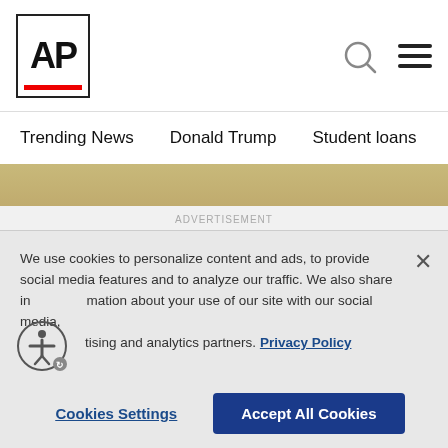[Figure (logo): AP (Associated Press) logo — bold black AP letters with red underline bar, in a bordered box]
Trending News   Donald Trump   Student loans   U.S. Open Tenn
[Figure (photo): Partial hero image strip showing blurred background]
ADVERTISEMENT
Sen. Elizabeth Warren calls Betsy DeVos the “worst
We use cookies to personalize content and ads, to provide social media features and to analyze our traffic. We also share information about your use of our site with our social media, advertising and analytics partners. Privacy Policy
Cookies Settings
Accept All Cookies